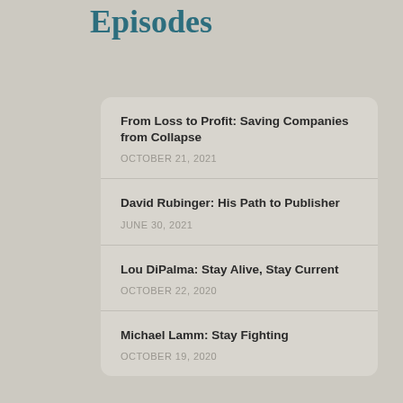Episodes
From Loss to Profit: Saving Companies from Collapse
OCTOBER 21, 2021
David Rubinger: His Path to Publisher
JUNE 30, 2021
Lou DiPalma: Stay Alive, Stay Current
OCTOBER 22, 2020
Michael Lamm: Stay Fighting
OCTOBER 19, 2020